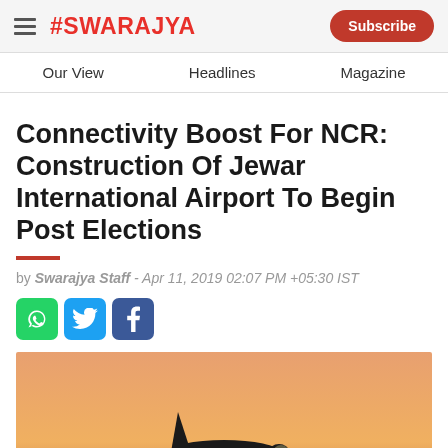#SWARAJYA
Our View | Headlines | Magazine
Connectivity Boost For NCR: Construction Of Jewar International Airport To Begin Post Elections
by Swarajya Staff - Apr 11, 2019 02:07 PM +05:30 IST
[Figure (photo): Airplane taking off against an orange/golden sunset sky]
Social share icons: WhatsApp, Twitter, Facebook